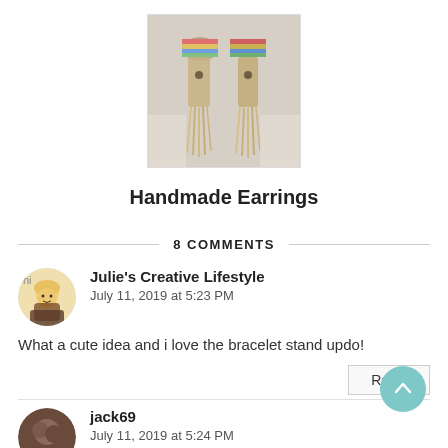[Figure (photo): Product photo of handmade earrings with tassels and colorful beads on a light background]
Handmade Earrings
8 COMMENTS
Julie's Creative Lifestyle
July 11, 2019 at 5:23 PM
What a cute idea and i love the bracelet stand updo!
jack69
July 11, 2019 at 5:24 PM
You are always thinking and giving Nick ideas to play